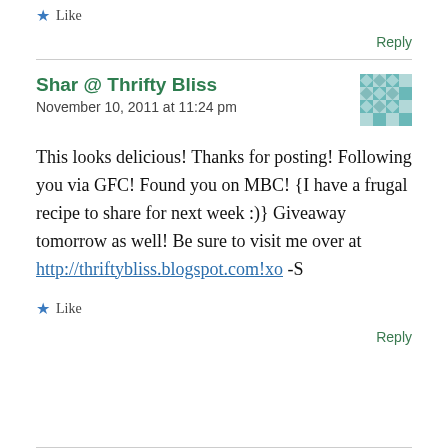★ Like
Reply
Shar @ Thrifty Bliss
November 10, 2011 at 11:24 pm
This looks delicious! Thanks for posting! Following you via GFC! Found you on MBC! {I have a frugal recipe to share for next week :)} Giveaway tomorrow as well! Be sure to visit me over at http://thriftybliss.blogspot.com!xo -S
★ Like
Reply